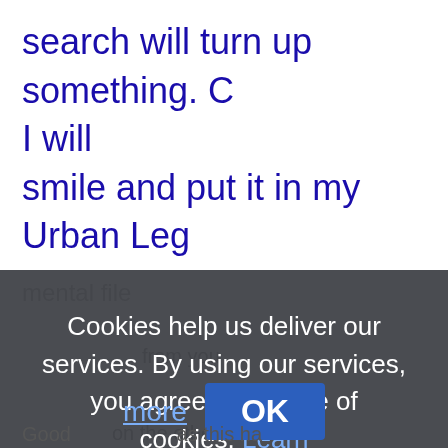search will turn up something. C I will smile and put it in my Urban Leg
mental file
Cookies help us deliver our services. By using our services, you agree to our use of cookies. Learn more
OK
Good ... on the other hand ... as this ha